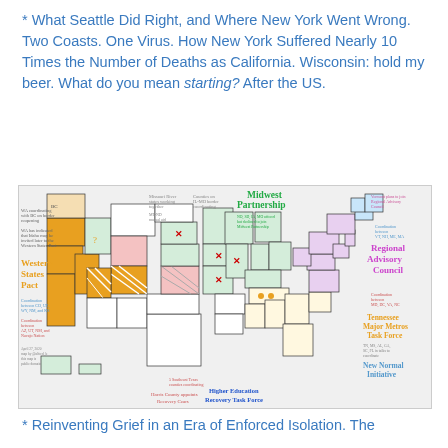* What Seattle Did Right, and Where New York Went Wrong. Two Coasts. One Virus. How New York Suffered Nearly 10 Times the Number of Deaths as California. Wisconsin: hold my beer. What do you mean starting? After the US.
[Figure (map): Map of the United States showing various regional coordination groups and pacts formed during COVID-19 pandemic response, including: Western States Pact (orange states: WA, OR, CA, NV, CO), Midwest Partnership, Regional Advisory Council (northeastern states), Tennessee Major Metros Task Force, Higher Education Recovery Task Force, New Normal Initiative, Harris County appoints Recovery Czars, 5 Southeast Texas counties coordinating, Missouri River states working together, Counties on IL-MO border coordinating, Vermont plans to join Regional Advisory Council, Coordination between VT, NH, ME, MA, Coordination between MD, DC, VA, NC, Coordination between AZ, UT, NM, and Navajo Nation, Coordination between CO, UT, WY, NM, and KS. Dated April 27, 2020.]
* Reinventing Grief in an Era of Enforced Isolation. The